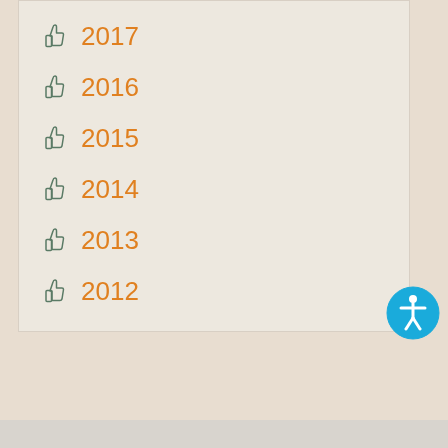2017
2016
2015
2014
2013
2012
[Figure (logo): Accessibility icon: blue circle with white stick figure person with arms outstretched]